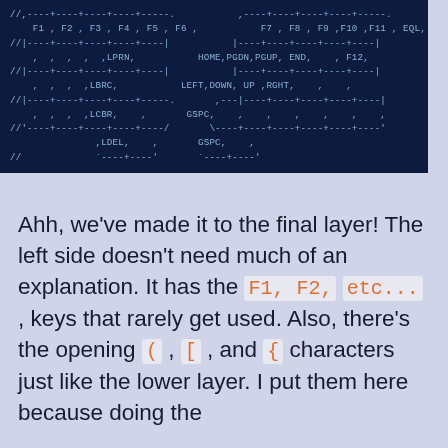[Figure (screenshot): Dark blue code block showing keyboard layout configuration with function keys F1-F6 on the left, F7-F11/EQL on the right, LPRN, HOME/PGDN/PGUP/END/F12, LBRC, LEFT/DOWN/UP/RGHT, LCBR/GSPC rows, LDEL/GSPC row, and closing lines.]
Ahh, we've made it to the final layer! The left side doesn't need much of an explanation. It has the F1, F2, etc... , keys that rarely get used. Also, there's the opening ( , [ , and { characters just like the lower layer. I put them here because doing the